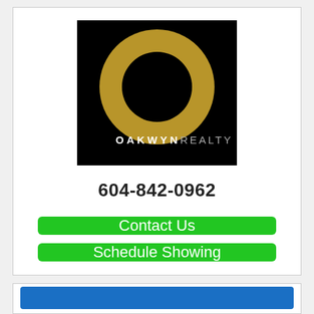[Figure (logo): Oakwyn Realty logo: black square background with a large gold ring/circle in the center and 'OAKWYN REALTY' text in white at the bottom]
604-842-0962
Contact Us
Schedule Showing